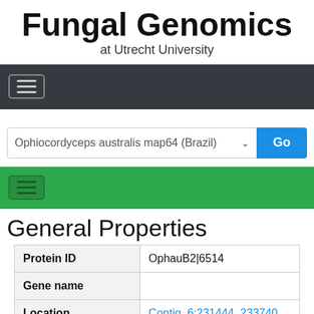Fungal Genomics
at Utrecht University
[Figure (screenshot): Dark navigation bar with hamburger menu button]
[Figure (screenshot): Dropdown selector showing 'Ophiocordyceps australis map64 (Brazil)' with a blue Go button]
[Figure (screenshot): Green navigation bar with hamburger menu button]
General Properties
| Property | Value |
| --- | --- |
| Protein ID | OphauB2|6514 |
| Gene name |  |
| Location | Contig_6:231444..233740 |